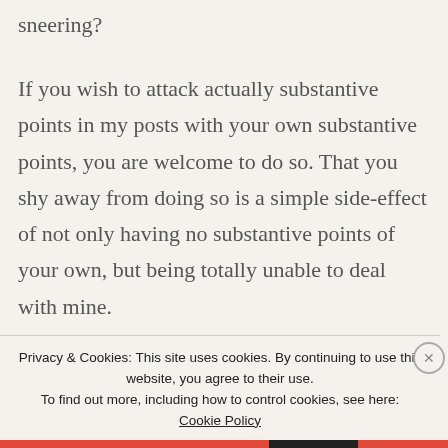sneering?
If you wish to attack actually substantive points in my posts with your own substantive points, you are welcome to do so. That you shy away from doing so is a simple side-effect of not only having no substantive points of your own, but being totally unable to deal with mine.
As Chesterton said: I can defend my position, you
Privacy & Cookies: This site uses cookies. By continuing to use this website, you agree to their use.
To find out more, including how to control cookies, see here: Cookie Policy
Close and accept